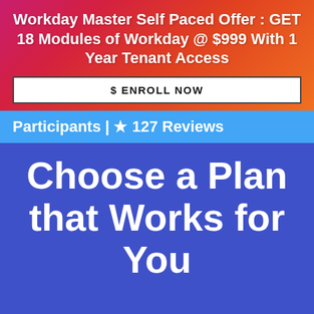Workday Master Self Paced Offer : GET 18 Modules of Workday @ $999 With 1 Year Tenant Access
$ ENROLL NOW
Participants | ⭐ 127 Reviews
Choose a Plan that Works for You
+44-1224-015200  Whatsapp  7 5239  +1-323-678-5557  sales@cloudfoundation.com